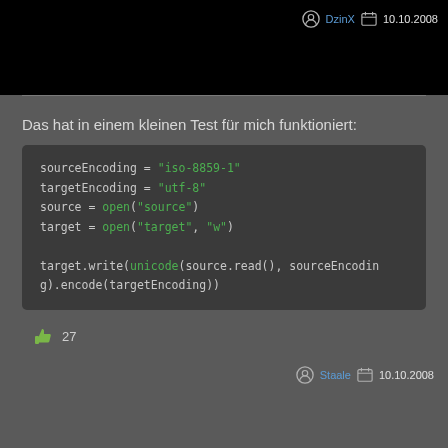[Figure (screenshot): Black area at top of page (video or image thumbnail)]
DzinX  10.10.2008
Das hat in einem kleinen Test für mich funktioniert:
sourceEncoding = "iso-8859-1"
targetEncoding = "utf-8"
source = open("source")
target = open("target", "w")

target.write(unicode(source.read(), sourceEncoding).encode(targetEncoding))
27
Staale  10.10.2008